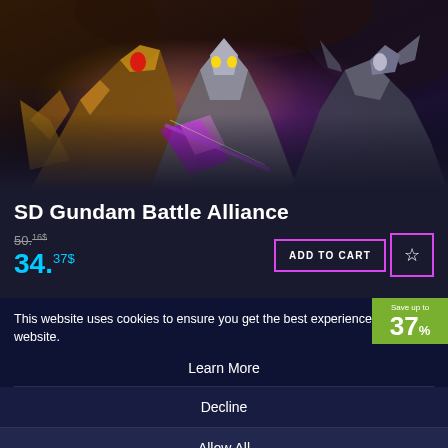[Figure (screenshot): SD Gundam Battle Alliance game banner showing mech robots in dramatic battle scene with purple energy beams and dark rocky background]
SD Gundam Battle Alliance
50.16$ (strikethrough original price) / 34.37$ (sale price)
ADD TO CART button and wishlist star button
This website uses cookies to ensure you get the best experience on our website.
Learn More
Decline
Allow All
Save up to 37%
[Figure (screenshot): F1 Manager 22 game promotional banner with F1 logo and racing cars on track at night]